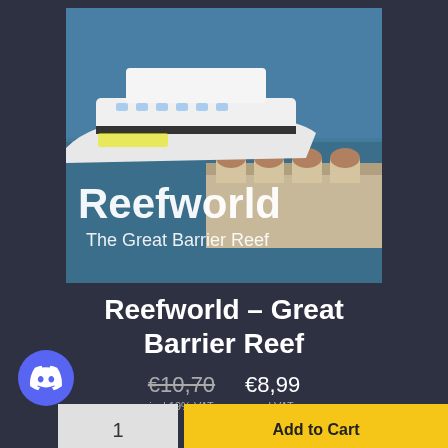[Figure (photo): Aerial photo of the Reefworld pontoon on the Great Barrier Reef with a large white cruise vessel docked alongside. Text overlay reads 'Reefworld The Great Barrier Reef' in white.]
Reefworld – Great Barrier Reef
€10,70   €8,99
incl 19% VAT   excl VAT